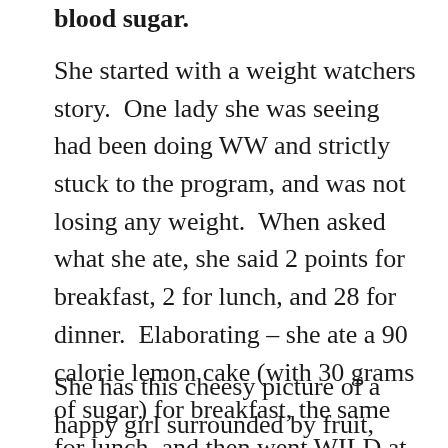blood sugar.
She started with a weight watchers story.  One lady she was seeing had been doing WW and strictly stuck to the program, and was not losing any weight.  When asked what she ate, she said 2 points for breakfast, 2 for lunch, and 28 for dinner.  Elaborating – she ate a 90 calorie lemon cake (with 30 grams of sugar) for breakfast, the same for lunch, and then went WILD at dinner.  Stuck to the point count, but ate no quality food.  Obviously, this is an extreme, but I know I've had pretty shitty nutrient weeks but just kept it in calorie range.
She has this cheesy picture of a happy girl surrounded by fruit, veggies, milk, nuts, brown rice, beans, fish, and chicken, and an unhappy girl surrounded by hostess and